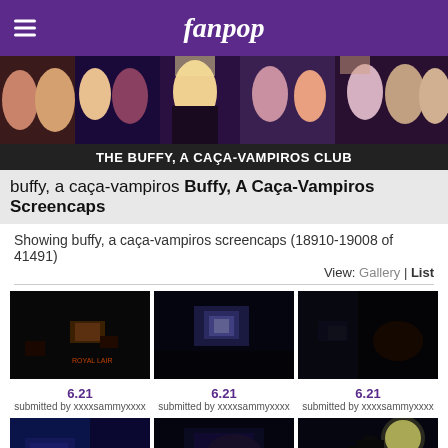fanpop
[Figure (photo): Banner photo of Buffy the Vampire Slayer cast members]
THE BUFFY, A CAÇA-VAMPIROS CLUB
buffy, a caça-vampiros Buffy, A Caça-Vampiros Screencaps
Showing buffy, a caça-vampiros screencaps (18910-19008 of 41491)
View: Gallery | List
[Figure (screenshot): Screencap thumbnail 6.21, submitted by xxxxsammyxxxx]
[Figure (screenshot): Screencap thumbnail 6.21, submitted by xxxxsammyxxxx]
[Figure (screenshot): Screencap thumbnail 6.21, submitted by xxxxsammyxxxx]
[Figure (screenshot): Screencap thumbnail 6.21, submitted by xxxxsammyxxxx]
[Figure (screenshot): Screencap thumbnail 6.21, submitted by xxxxsammyxxxx]
[Figure (screenshot): Screencap thumbnail 6.21, submitted by xxxxsammyxxxx]
[Figure (screenshot): Partial screencap thumbnail at bottom of page]